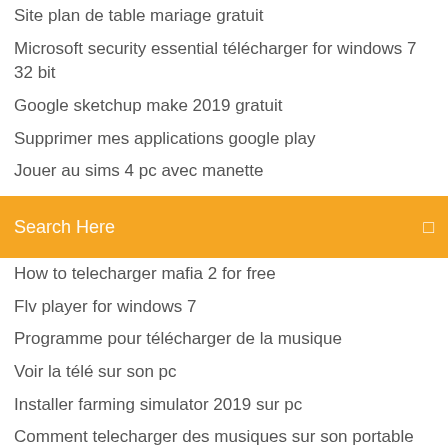Site plan de table mariage gratuit
Microsoft security essential télécharger for windows 7 32 bit
Google sketchup make 2019 gratuit
Supprimer mes applications google play
Jouer au sims 4 pc avec manette
Search Here
How to telecharger mafia 2 for free
Flv player for windows 7
Programme pour télécharger de la musique
Voir la télé sur son pc
Installer farming simulator 2019 sur pc
Comment telecharger des musiques sur son portable
La belle au bois dormant disney télécharger
Mise a jour sims juin 2019
Mise a jour flight simulator x pour windows 7
Free youtube to mp3 converter télécharger music
Logiciel pour scanner au format pdf